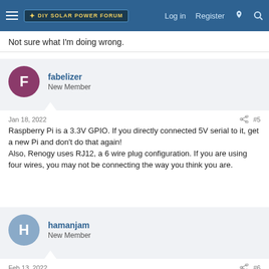DIY Solar Power Forum — Log in  Register
Not sure what I'm doing wrong.
fabelizer
New Member
Jan 18, 2022  #5
Raspberry Pi is a 3.3V GPIO. If you directly connected 5V serial to it, get a new Pi and don't do that again!
Also, Renogy uses RJ12, a 6 wire plug configuration. If you are using four wires, you may not be connecting the way you think you are.
hamanjam
New Member
Feb 13, 2022  #6